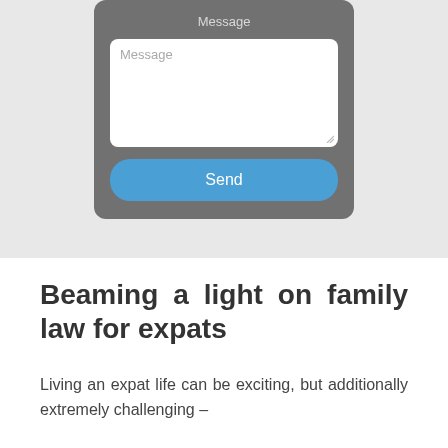[Figure (screenshot): Mobile app screenshot showing a message form with a textarea labeled 'Message' and a blue 'Send' button, set against a gray modal card on a light gray background]
Beaming a light on family law for expats
Living an expat life can be exciting, but additionally extremely challenging –